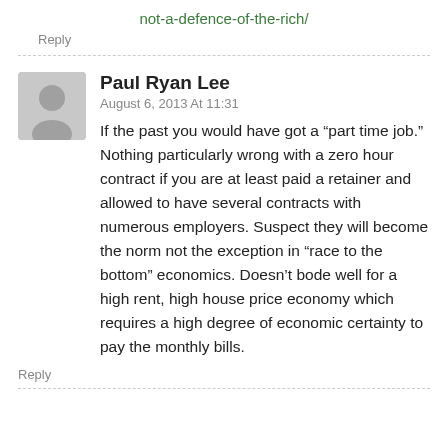not-a-defence-of-the-rich/
Reply
Paul Ryan Lee
August 6, 2013 At 11:31
If the past you would have got a “part time job.” Nothing particularly wrong with a zero hour contract if you are at least paid a retainer and allowed to have several contracts with numerous employers. Suspect they will become the norm not the exception in “race to the bottom” economics. Doesn’t bode well for a high rent, high house price economy which requires a high degree of economic certainty to pay the monthly bills.
Reply